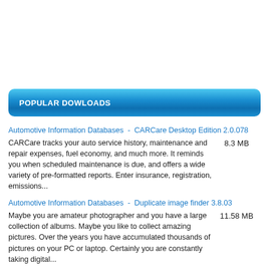POPULAR DOWLOADS
Automotive Information Databases  -  CARCare Desktop Edition 2.0.078
CARCare tracks your auto service history, maintenance and repair expenses, fuel economy, and much more. It reminds you when scheduled maintenance is due, and offers a wide variety of pre-formatted reports. Enter insurance, registration, emissions...
8.3 MB
Automotive Information Databases  -  Duplicate image finder 3.8.03
Maybe you are amateur photographer and you have a large collection of albums. Maybe you like to collect amazing pictures. Over the years you have accumulated thousands of pictures on your PC or laptop. Certainly you are constantly taking digital...
11.58 MB
Automotive Information Databases  -  eMyCar Monitor for Windows 4.0.14.334